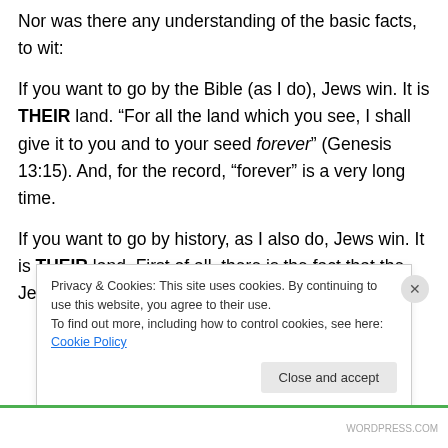Nor was there any understanding of the basic facts, to wit:
If you want to go by the Bible (as I do), Jews win. It is THEIR land. “For all the land which you see, I shall give it to you and to your seed forever” (Genesis 13:15). And, for the record, “forever” is a very long time.
If you want to go by history, as I also do, Jews win. It is THEIR land. First of all, there is the fact that the Jews have a documented history as “the
Privacy & Cookies: This site uses cookies. By continuing to use this website, you agree to their use.
To find out more, including how to control cookies, see here: Cookie Policy
Close and accept
WORDPRESS.COM